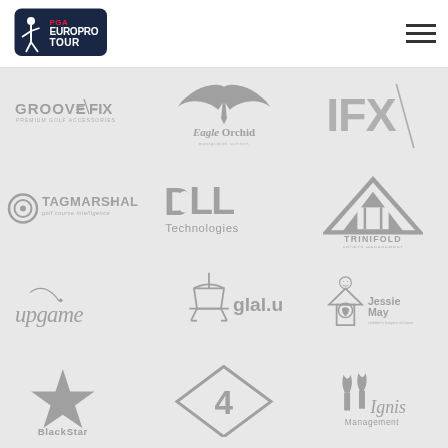[Figure (logo): PGA EuroPro Tour logo in dark navy badge shape with golfer silhouette]
[Figure (logo): Hamburger menu icon (three horizontal lines)]
[Figure (logo): GrooveFix - Premium Golf Accessories logo in gray]
[Figure (logo): Eagle Orchid management services logo with stylized eagle wings in gray]
[Figure (logo): IFX logo in large gray letters with diagonal slash]
[Figure (logo): Tagmarshal golf course intelligence logo with target circle in gray]
[Figure (logo): Dell Technologies logo in gray]
[Figure (logo): Trinifold sports management logo with gray triangle]
[Figure (logo): upgame logo in gray cursive with curved line]
[Figure (logo): glal.uk logo with pendant lamp icon in gray]
[Figure (logo): Jessie May children's hospice at home logo with house icon in gray]
[Figure (logo): BlackStar logo with star icon in gray]
[Figure (logo): Global Caddie Cancer logo with diamond shape and number 4 in gray]
[Figure (logo): Ignis Management logo with flame candles in gray]